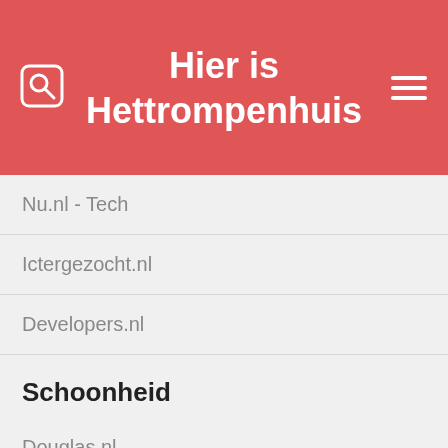Hier is Hettrompenhuis
Nu.nl - Tech
Ictergezocht.nl
Developers.nl
Schoonheid
Douglas.nl
maccosmetics.nl
Iciparisxl.nl